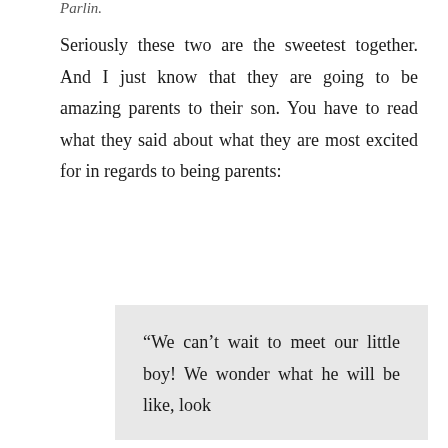Parlin.
Seriously these two are the sweetest together. And I just know that they are going to be amazing parents to their son. You have to read what they said about what they are most excited for in regards to being parents:
“We can’t wait to meet our little boy! We wonder what he will be like, look